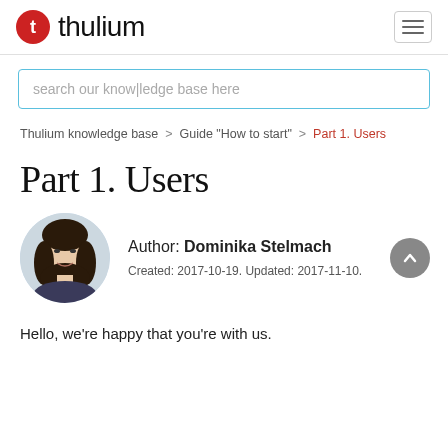thulium
[Figure (screenshot): Search input box with placeholder text 'search our knowledge base here']
Thulium knowledge base > Guide "How to start" > Part 1. Users
Part 1. Users
[Figure (photo): Circular author photo of Dominika Stelmach, a young woman with dark hair]
Author: Dominika Stelmach
Created: 2017-10-19. Updated: 2017-11-10.
Hello, we're happy that you're with us.